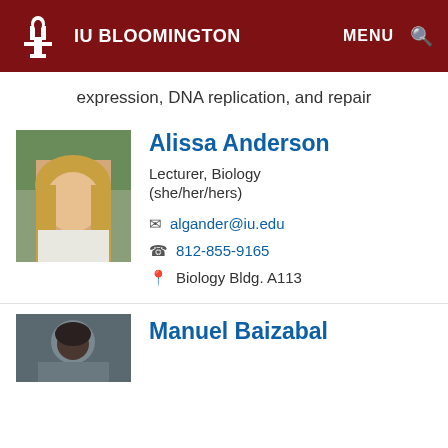IU BLOOMINGTON  MENU 🔍
expression, DNA replication, and repair
Alissa Anderson
Lecturer, Biology
(she/her/hers)
algander@iu.edu
812-855-9165
Biology Bldg. A113
Manuel Baizabal